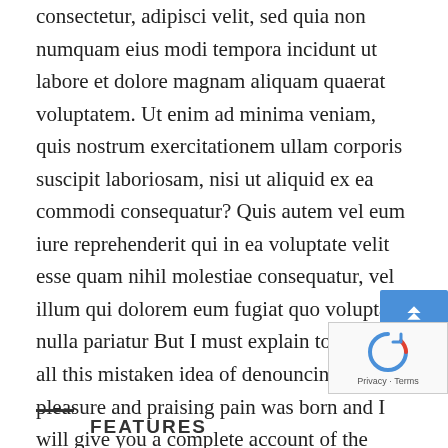consectetur, adipisci velit, sed quia non numquam eius modi tempora incidunt ut labore et dolore magnam aliquam quaerat voluptatem. Ut enim ad minima veniam, quis nostrum exercitationem ullam corporis suscipit laboriosam, nisi ut aliquid ex ea commodi consequatur? Quis autem vel eum iure reprehenderit qui in ea voluptate velit esse quam nihil molestiae consequatur, vel illum qui dolorem eum fugiat quo voluptas nulla pariatur But I must explain to you how all this mistaken idea of denouncing pleasure and praising pain was born and I will give you a complete account of the system, and expound the actual teachings of the great explorer of the truth, the master-builder of human happiness. No one rejects, dislikes
FEATURES